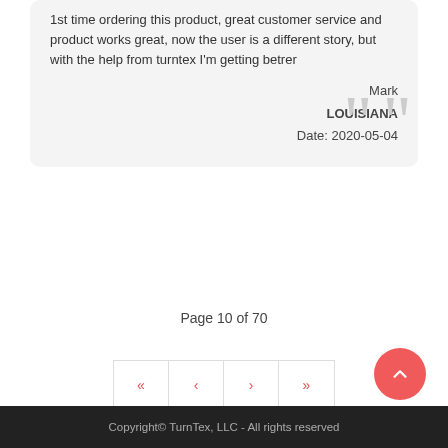1st time ordering this product, great customer service and product works great, now the user is a different story, but with the help from turntex I'm getting betrer
Mark
LOUISIANA
Date: 2020-05-04
Page 10 of 70
Copyright© TurnTex, LLC - All rights reserved